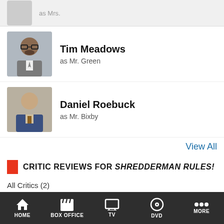as Mrs. [partial, cropped]
Tim Meadows
as Mr. Green
Daniel Roebuck
as Mr. Bixby
View All
CRITIC REVIEWS FOR SHREDDERMAN RULES!
All Critics (2)
Tween tale strays into cyberbullying territory.
December 18, 2010 | Rating: 3/5 | Full Review...
Emily Ashby
Common Sense Media
HOME  BOX OFFICE  TV  DVD  MORE